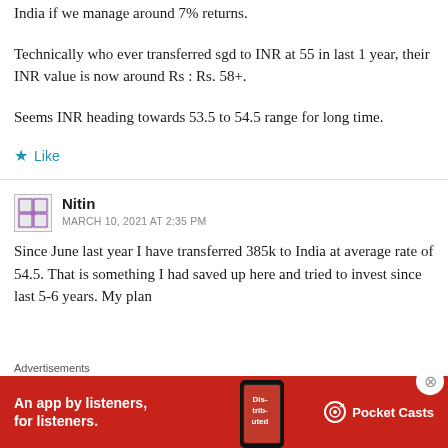India if we manage around 7% returns.
Technically who ever transferred sgd to INR at 55 in last 1 year, their INR value is now around Rs : Rs. 58+.
Seems INR heading towards 53.5 to 54.5 range for long time.
★ Like
Nitin
MARCH 10, 2021 AT 2:35 PM
Since June last year I have transferred 385k to India at average rate of 54.5. That is something I had saved up here and tried to invest since last 5-6 years. My plan
[Figure (infographic): Pocket Casts podcast app advertisement banner with red background, phone image showing 'Distributed' text, and Pocket Casts logo. Text reads 'An app by listeners, for listeners.']